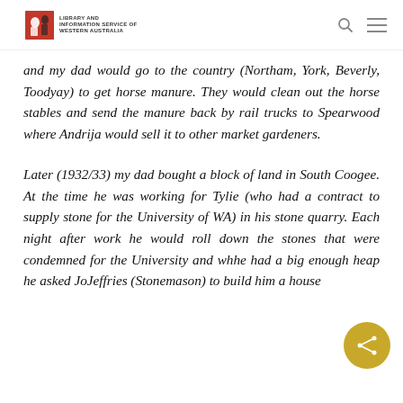LIBRARY AND INFORMATION SERVICE OF WESTERN AUSTRALIA
and my dad would go to the country (Northam, York, Beverly, Toodyay) to get horse manure. They would clean out the horse stables and send the manure back by rail trucks to Spearwood where Andrija would sell it to other market gardeners.
Later (1932/33) my dad bought a block of land in South Coogee. At the time he was working for Tylie (who had a contract to supply stone for the University of WA) in his stone quarry. Each night after work he would roll down the stones that were condemned for the University and wh he had a big enough heap he asked Jo Jeffries (Stonemason) to build him a house